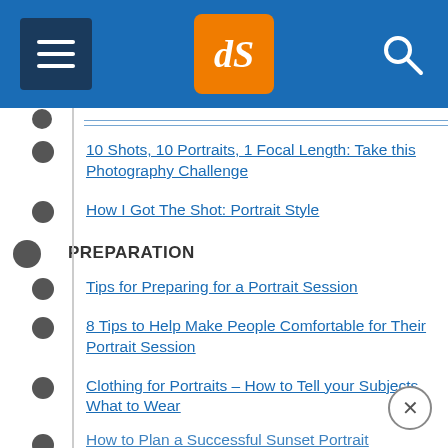dPS (Digital Photography School) navigation header
10 Shots, 10 Portraits, 1 Focal Length: Take this Photography Challenge
How I Got The Shot: Portrait Style
PREPARATION
Tips for Preparing for a Portrait Session
8 Tips to Help Make People Comfortable for Their Portrait Session
Clothing for Portraits – How to Tell your Subjects What to Wear
How to Plan a Successful Sunset Portrait (truncated)